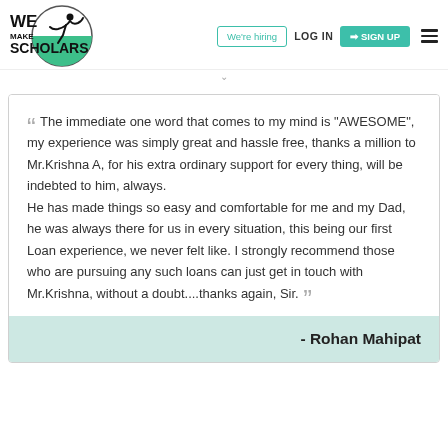We're hiring | LOG IN | SIGN UP
“ The immediate one word that comes to my mind is "AWESOME", my experience was simply great and hassle free, thanks a million to Mr.Krishna A, for his extra ordinary support for every thing, will be indebted to him, always. He has made things so easy and comfortable for me and my Dad, he was always there for us in every situation, this being our first Loan experience, we never felt like. I strongly recommend those who are pursuing any such loans can just get in touch with Mr.Krishna, without a doubt....thanks again, Sir. ”
- Rohan Mahipat